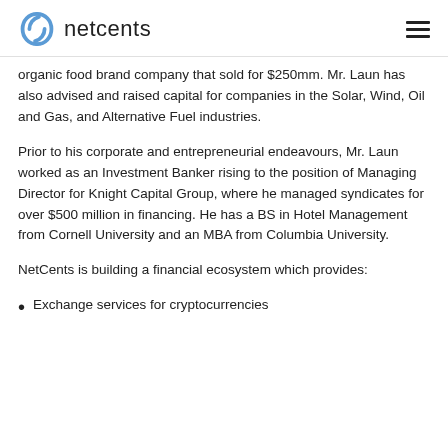netcents
organic food brand company that sold for $250mm. Mr. Laun has also advised and raised capital for companies in the Solar, Wind, Oil and Gas, and Alternative Fuel industries.
Prior to his corporate and entrepreneurial endeavours, Mr. Laun worked as an Investment Banker rising to the position of Managing Director for Knight Capital Group, where he managed syndicates for over $500 million in financing. He has a BS in Hotel Management from Cornell University and an MBA from Columbia University.
NetCents is building a financial ecosystem which provides:
Exchange services for cryptocurrencies